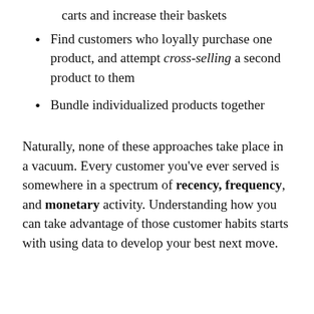carts and increase their baskets
Find customers who loyally purchase one product, and attempt cross-selling a second product to them
Bundle individualized products together
Naturally, none of these approaches take place in a vacuum. Every customer you’ve ever served is somewhere in a spectrum of recency, frequency, and monetary activity. Understanding how you can take advantage of those customer habits starts with using data to develop your best next move.